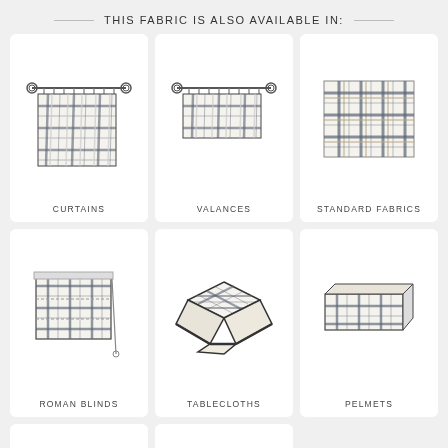THIS FABRIC IS ALSO AVAILABLE IN:
[Figure (illustration): Illustration of curtains with plaid fabric on a curtain rod, labeled CURTAINS]
[Figure (illustration): Illustration of valances with plaid fabric on a curtain rod, labeled VALANCES]
[Figure (illustration): Plaid fabric swatch sample, labeled STANDARD FABRICS]
[Figure (illustration): Illustration of roman blinds with plaid fabric, labeled ROMAN BLINDS]
[Figure (illustration): Illustration of a tablecloth with plaid fabric, labeled TABLECLOTHS]
[Figure (illustration): Illustration of a pelmet with plaid fabric, labeled PELMETS]